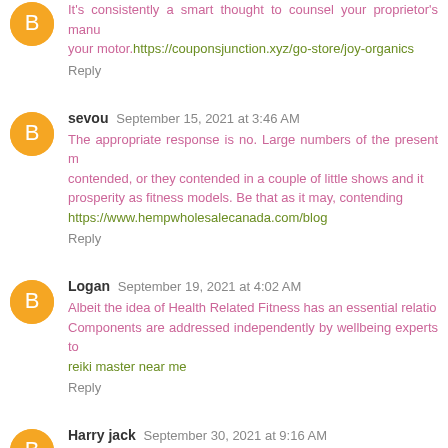It's consistently a smart thought to counsel your proprietor's manual for your motor. https://couponsjunction.xyz/go-store/joy-organics
Reply
sevou  September 15, 2021 at 3:46 AM
The appropriate response is no. Large numbers of the present m... contended, or they contended in a couple of little shows and it... prosperity as fitness models. Be that as it may, contending... https://www.hempwholesalecanada.com/blog
Reply
Logan  September 19, 2021 at 4:02 AM
Albeit the idea of Health Related Fitness has an essential relatio... Components are addressed independently by wellbeing experts to... reiki master near me
Reply
Harry jack  September 30, 2021 at 9:16 AM
This is a wonderful manner to get new potential customers - many tanning Tanning Salon in Florida